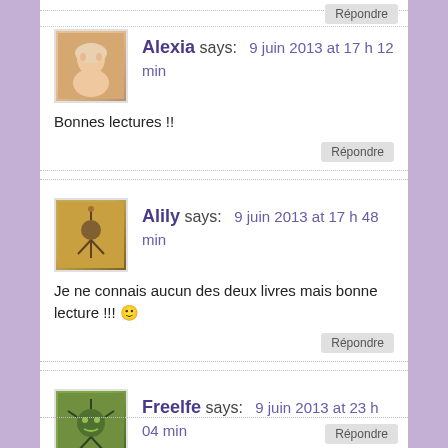Alexia says: 9 juin 2013 at 17 h 12 min
Bonnes lectures !!
Alily says: 9 juin 2013 at 17 h 48 min
Je ne connais aucun des deux livres mais bonne lecture !!! 🙂
Freelfe says: 9 juin 2013 at 23 h 04 min
Le deuxième me tente pas mal =)